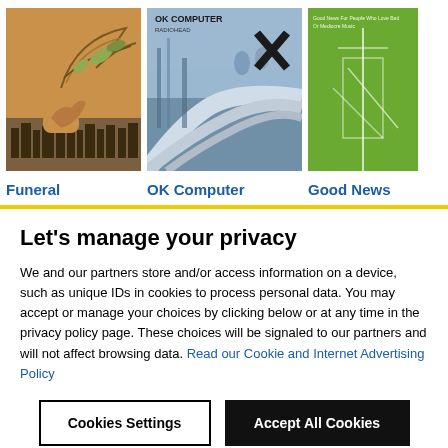[Figure (photo): Album cover: Funeral - orange/tan background with illustrated hand and decorative flourishes, city skyline silhouette at bottom]
[Figure (photo): Album cover: OK Computer by Radiohead - blue/grey toned image with highway interchange and people, black X mark]
[Figure (photo): Album cover: Good News - green background with white geometric/architectural lines]
Funeral
OK Computer
Good News
Let's manage your privacy
We and our partners store and/or access information on a device, such as unique IDs in cookies to process personal data. You may accept or manage your choices by clicking below or at any time in the privacy policy page. These choices will be signaled to our partners and will not affect browsing data. Read our Cookie and Internet Advertising Policy